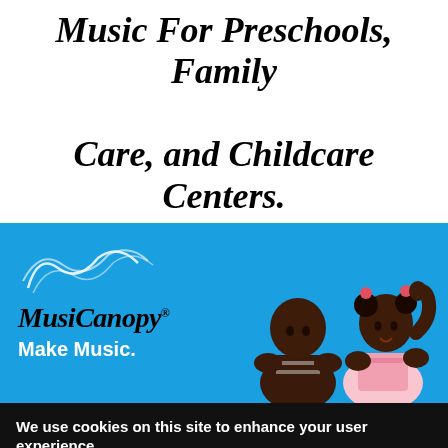Music For Preschools, Family Care, and Childcare Centers.
[Figure (photo): MusiCanopy banner ad with blue background showing two young children making music, with MusiCanopy logo and 'Make Music.' tagline on the left, and decorative squiggle lines at top left.]
We use cookies on this site to enhance your user experience
By clicking any link on this page you are giving your consent for us to set cookies. More info
OK I agree   No, thanks